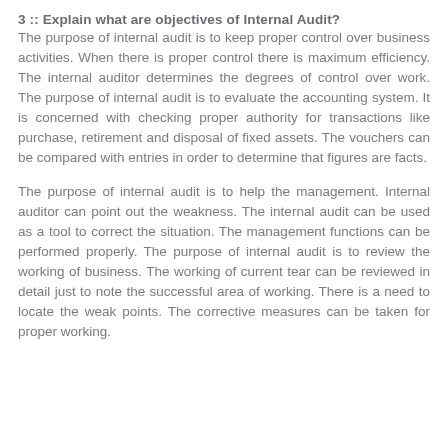3 :: Explain what are objectives of Internal Audit?
The purpose of internal audit is to keep proper control over business activities. When there is proper control there is maximum efficiency. The internal auditor determines the degrees of control over work. The purpose of internal audit is to evaluate the accounting system. It is concerned with checking proper authority for transactions like purchase, retirement and disposal of fixed assets. The vouchers can be compared with entries in order to determine that figures are facts.
The purpose of internal audit is to help the management. Internal auditor can point out the weakness. The internal audit can be used as a tool to correct the situation. The management functions can be performed properly. The purpose of internal audit is to review the working of business. The working of current tear can be reviewed in detail just to note the successful area of working. There is a need to locate the weak points. The corrective measures can be taken for proper working.